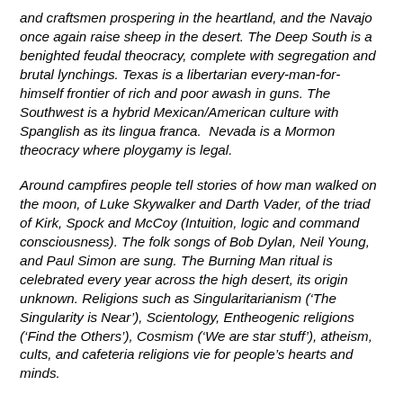and craftsmen prospering in the heartland, and the Navajo once again raise sheep in the desert. The Deep South is a benighted feudal theocracy, complete with segregation and brutal lynchings. Texas is a libertarian every-man-for-himself frontier of rich and poor awash in guns. The Southwest is a hybrid Mexican/American culture with Spanglish as its lingua franca.  Nevada is a Mormon theocracy where ploygamy is legal.
Around campfires people tell stories of how man walked on the moon, of Luke Skywalker and Darth Vader, of the triad of Kirk, Spock and McCoy (Intuition, logic and command consciousness). The folk songs of Bob Dylan, Neil Young, and Paul Simon are sung. The Burning Man ritual is celebrated every year across the high desert, its origin unknown. Religions such as Singularitarianism ('The Singularity is Near'), Scientology, Entheogenic religions ('Find the Others'), Cosmism ('We are star stuff'), atheism, cults, and cafeteria religions vie for people's hearts and minds.
It's all fascinating speculation, of course, but it seems rife